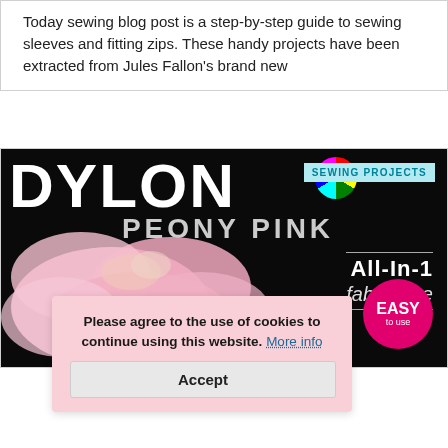Today sewing blog post is a step-by-step guide to sewing sleeves and fitting zips. These handy projects have been extracted from Jules Fallon's brand new
[Figure (photo): DYLON Peony Pink All-in-1 fabric dye product packaging on black background with pink flower and colorful logo circle. Orange EASY badge visible. SEWING PROJECTS tag in top right.]
How to use Dylon
Today's blog post is all about mend and how you can use fabric dye to reviver your wardrobe. Plus there's a giveaway to win a bundle
Please agree to the use of cookies to continue using this website. More info
Accept